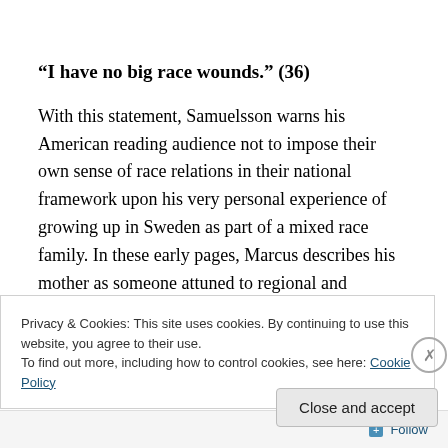“I have no big race wounds.” (36)
With this statement, Samuelsson warns his American reading audience not to impose their own sense of race relations in their national framework upon his very personal experience of growing up in Sweden as part of a mixed race family. In these early pages, Marcus describes his mother as someone attuned to regional and historical
Privacy & Cookies: This site uses cookies. By continuing to use this website, you agree to their use.
To find out more, including how to control cookies, see here: Cookie Policy
Close and accept
Follow